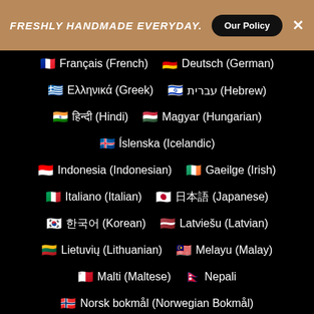FRESHLY HANDMADE EVERYDAY.  Our Policy  ×
🇫🇷 Français (French)   🇩🇪 Deutsch (German)
🇬🇷 Ελληνικά (Greek)   🇮🇱 עברית (Hebrew)
🇮🇳 हिन्दी (Hindi)   🇭🇺 Magyar (Hungarian)
🇮🇸 Íslenska (Icelandic)
🇮🇩 Indonesia (Indonesian)   🇮🇪 Gaeilge (Irish)
🇮🇹 Italiano (Italian)   🇯🇵 日本語 (Japanese)
🇰🇷 한국어 (Korean)   🇱🇻 Latviešu (Latvian)
🇱🇹 Lietuvių (Lithuanian)   🇲🇾 Melayu (Malay)
🇲🇹 Malti (Maltese)   🇳🇵 Nepali
🇳🇴 Norsk bokmål (Norwegian Bokmål)
🇮🇷 فارسی (Persian)   🇵🇱 Polski (Polish)